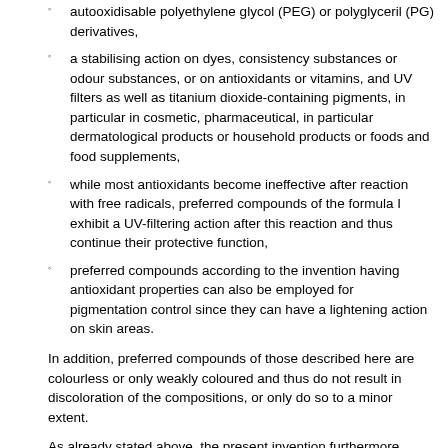autooxidisable polyethylene glycol (PEG) or polyglyceril (PG) derivatives,
a stabilising action on dyes, consistency substances or odour substances, or on antioxidants or vitamins, and UV filters as well as titanium dioxide-containing pigments, in particular in cosmetic, pharmaceutical, in particular dermatological products or household products or foods and food supplements,
while most antioxidants become ineffective after reaction with free radicals, preferred compounds of the formula I exhibit a UV-filtering action after this reaction and thus continue their protective function,
preferred compounds according to the invention having antioxidant properties can also be employed for pigmentation control since they can have a lightening action on skin areas.
In addition, preferred compounds of those described here are colourless or only weakly coloured and thus do not result in discoloration of the compositions, or only do so to a minor extent.
As already stated above, the present invention furthermore relates to compositions comprising at least one vehicle which is suitable for cosmetic or dermatological compositions or household products and at least one compound of the above-mentioned formula I.
In accordance with the invention, the compositions preferably comprise a